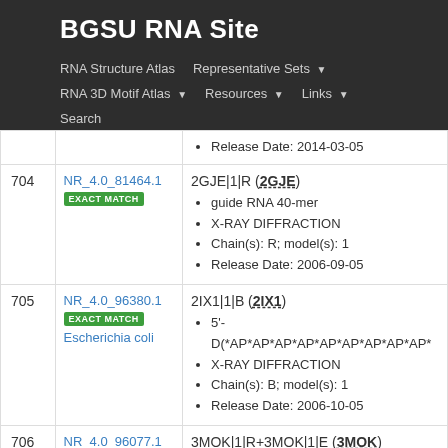BGSU RNA Site
RNA Structure Atlas | Representative Sets | RNA 3D Motif Atlas | Resources | Links | Search
| # | NR Set | Entry |
| --- | --- | --- |
|  |  | Release Date: 2014-03-05 |
| 704 | NR_4.0_81464.1 EXACT MATCH | 2GJE|1|R (2GJE)
guide RNA 40-mer
X-RAY DIFFRACTION
Chain(s): R; model(s): 1
Release Date: 2006-09-05 |
| 705 | NR_4.0_96380.1 EXACT MATCH Escherichia coli | 2IX1|1|B (2IX1)
5'-D(*AP*AP*AP*AP*AP*AP*AP*AP*AP*AP*...
X-RAY DIFFRACTION
Chain(s): B; model(s): 1
Release Date: 2006-10-05 |
| 706 | NR_4.0_96077.1 | 3MOK|1|R+3MOK|1|E (3MOK) |